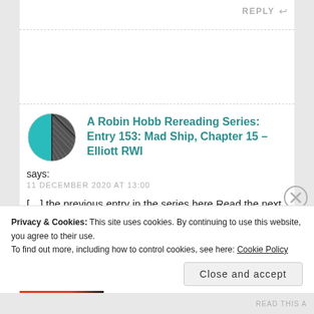REPLY ↩
[Figure (illustration): Circular avatar logo with teal/cyan left half and dark grey right half with diagonal line hatching pattern]
A Robin Hobb Rereading Series: Entry 153: Mad Ship, Chapter 15 – Elliott RWI
says:
11 DECEMBER 2020 AT 13:00
[…] the previous entry in the series here.Read the next entry in the series […]
Privacy & Cookies: This site uses cookies. By continuing to use this website, you agree to their use.
To find out more, including how to control cookies, see here: Cookie Policy
Close and accept